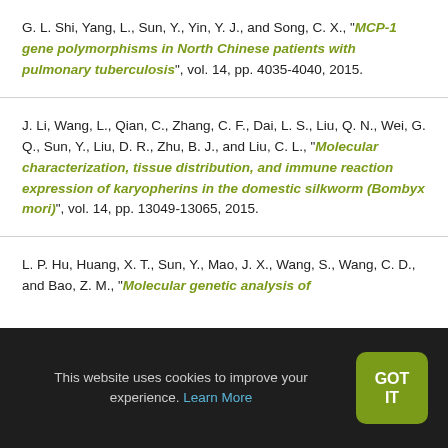G. L. Shi, Yang, L., Sun, Y., Yin, Y. J., and Song, C. X., "MCP-1 gene polymorphisms in North Chinese patients with pulmonary tuberculosis", vol. 14, pp. 4035-4040, 2015.
J. Li, Wang, L., Qian, C., Zhang, C. F., Dai, L. S., Liu, Q. N., Wei, G. Q., Sun, Y., Liu, D. R., Zhu, B. J., and Liu, C. L., "Molecular characterization, tissue distribution, and immune reaction expression of karyopherins in the domestic silkworm (Bombyx mori)", vol. 14, pp. 13049-13065, 2015.
L. P. Hu, Huang, X. T., Sun, Y., Mao, J. X., Wang, S., Wang, C. D., and Bao, Z. M., "Molecular genetic analysis of...
This website uses cookies to improve your experience. Learn More